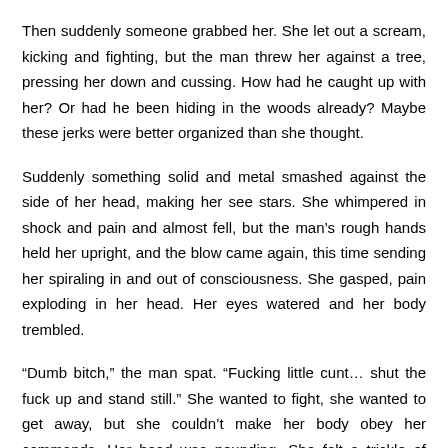Then suddenly someone grabbed her. She let out a scream, kicking and fighting, but the man threw her against a tree, pressing her down and cussing. How had he caught up with her? Or had he been hiding in the woods already? Maybe these jerks were better organized than she thought.
Suddenly something solid and metal smashed against the side of her head, making her see stars. She whimpered in shock and pain and almost fell, but the man’s rough hands held her upright, and the blow came again, this time sending her spiraling in and out of consciousness. She gasped, pain exploding in her head. Her eyes watered and her body trembled.
“Dumb bitch,” the man spat. “Fucking little cunt… shut the fuck up and stand still.” She wanted to fight, she wanted to get away, but she couldn’t make her body obey her commands. Her head was pounding. She felt a trickle of blood down her cheek, and her fear bit so deep that she had to hold back tears. She was going to die. She was going to die and this was